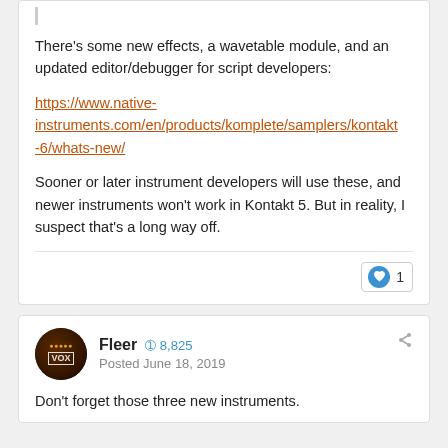There's some new effects, a wavetable module, and an updated editor/debugger for script developers:
https://www.native-instruments.com/en/products/komplete/samplers/kontakt-6/whats-new/
Sooner or later instrument developers will use these, and newer instruments won't work in Kontakt 5. But in reality, I suspect that's a long way off.
Fleer  8,825
Posted June 18, 2019
Don't forget those three new instruments.